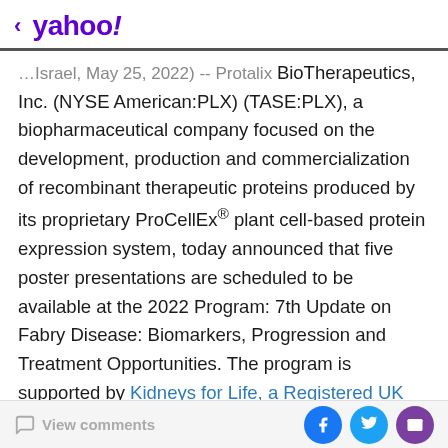< yahoo!
...Israel, May 25, 2022) -- Protalix BioTherapeutics, Inc. (NYSE American:PLX) (TASE:PLX), a biopharmaceutical company focused on the development, production and commercialization of recombinant therapeutic proteins produced by its proprietary ProCellEx® plant cell-based protein expression system, today announced that five poster presentations are scheduled to be available at the 2022 Program: 7th Update on Fabry Disease: Biomarkers, Progression and Treatment Opportunities. The program is supported by Kidneys for Life, a Registered UK Charitable Organization (Manchester, UK), and is taking place May 29, 2022 through May 31, 2022 at the Maritim Hotel and Conference Center, Würzburg Germany
View comments